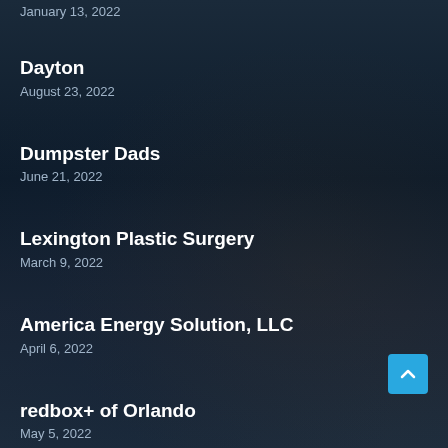January 13, 2022
Dayton
August 23, 2022
Dumpster Dads
June 21, 2022
Lexington Plastic Surgery
March 9, 2022
America Energy Solution, LLC
April 6, 2022
redbox+ of Orlando
May 5, 2022